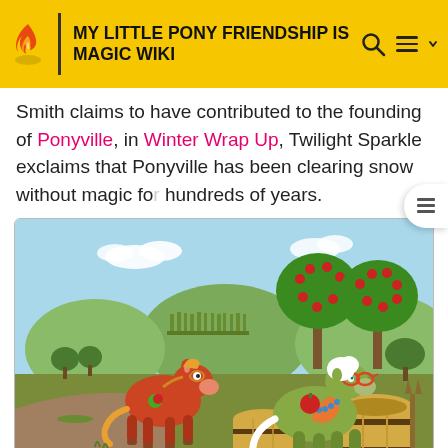MY LITTLE PONY FRIENDSHIP IS MAGIC WIKI
Smith claims to have contributed to the founding of Ponyville, in Winter Wrap Up, Twilight Sparkle exclaims that Ponyville has been clearing snow without magic for hundreds of years.
[Figure (illustration): Granny Smith and Big McIntosh pony characters in an orchard scene with apple trees and wooden barrels. Granny Smith holds a red apple. Background shows green hills and trees with red apples.]
Granny Smith in The Super Speedy Cider Squeezy 6000.